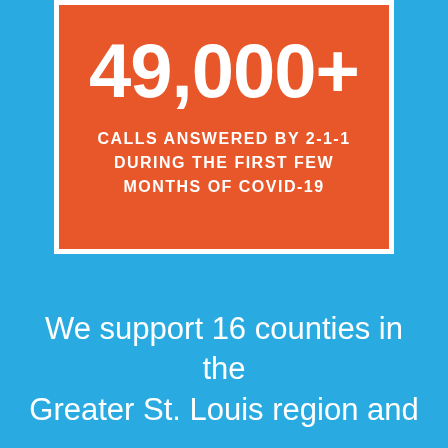49,000+
CALLS ANSWERED BY 2-1-1 DURING THE FIRST FEW MONTHS OF COVID-19
We support 16 counties in the Greater St. Louis region and